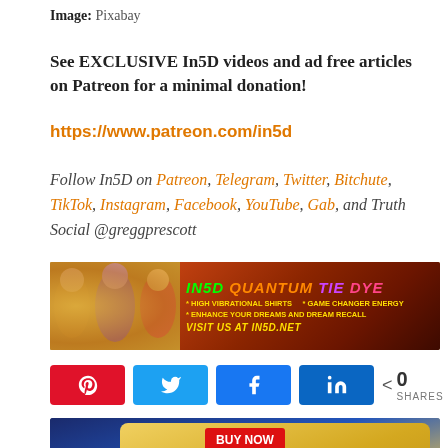Image: Pixabay
See EXCLUSIVE In5D videos and ad free articles on Patreon for a minimal donation!
https://www.patreon.com/in5d
Follow In5D on Patreon, Telegram, Twitter, Bitchute, TikTok, Instagram, Facebook, YouTube, Gab, and Truth Social @greggprescott
[Figure (photo): In5D Quantum Tie Dye banner ad showing people in tie-dye shirts and colorful promotional text]
[Figure (infographic): Social share buttons: Pinterest, Twitter, Facebook, LinkedIn, and share count showing 0 SHARES]
[Figure (photo): Advertisement for 30x Golden Trump Bucks showing BUY NOW button, Presidential seal, price $34.99 struck through, now 6.99 each]